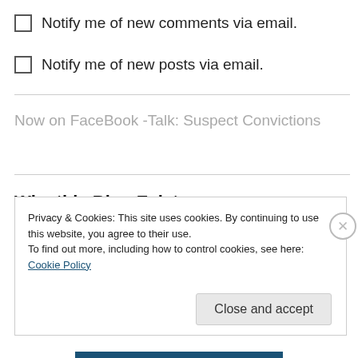Notify me of new comments via email.
Notify me of new posts via email.
Now on FaceBook -Talk: Suspect Convictions
Why this Blog Exists
The February 6,  2008, murder of Attorney Gregory Clark is the highest-
Privacy & Cookies: This site uses cookies. By continuing to use this website, you agree to their use.
To find out more, including how to control cookies, see here: Cookie Policy
Close and accept